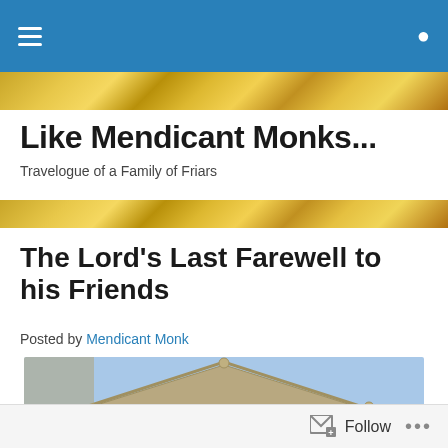Navigation bar with hamburger menu and search icon
Like Mendicant Monks...
Travelogue of a Family of Friars
The Lord's Last Farewell to his Friends
Posted by Mendicant Monk
[Figure (photo): Classical stone building pediment/cornice with triangular gable against a blue sky]
Follow ...